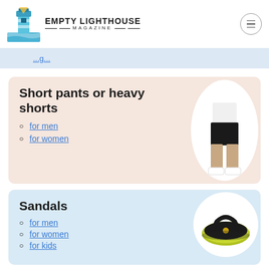EMPTY LIGHTHOUSE MAGAZINE
Short pants or heavy shorts
for men
for women
[Figure (photo): Person wearing black shorts with white sneakers]
Sandals
for men
for women
for kids
[Figure (photo): Black and yellow-green flip flop sandal]